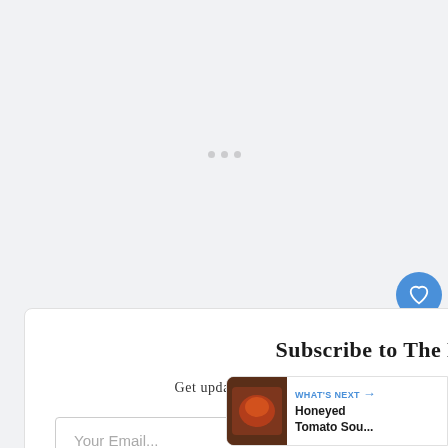[Figure (other): Light gray background area with three small dots centered, resembling a loading/placeholder region]
Subscribe to The English Kitchen!
Get updates on the latest posts and more from The English Kitchen straight to your in[box]
Your Email...
[Figure (other): Blue circular heart/favorite button with count 5 and a share button below it]
5
WHAT'S NEXT → Honeyed Tomato Sou...